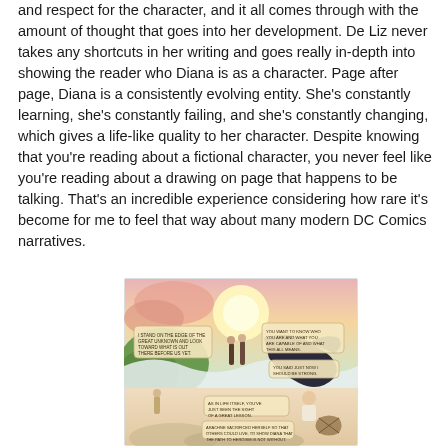and respect for the character, and it all comes through with the amount of thought that goes into her development. De Liz never takes any shortcuts in her writing and goes really in-depth into showing the reader who Diana is as a character. Page after page, Diana is a consistently evolving entity. She's constantly learning, she's constantly failing, and she's constantly changing, which gives a life-like quality to her character. Despite knowing that you're reading about a fictional character, you never feel like you're reading about a drawing on page that happens to be talking. That's an incredible experience considering how rare it's become for me to feel that way about many modern DC Comics narratives.
[Figure (illustration): A comic book panel illustration showing two figures standing on a landscape with a bright sun in the background, clouds, and another scene below with a woman and some objects. Speech bubbles with text are visible.]